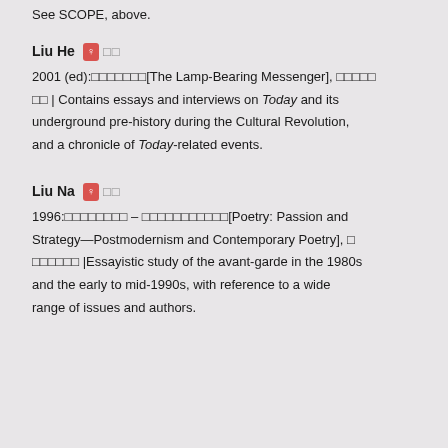See SCOPE, above.
Liu He ♀ □□
2001 (ed):□□□□□□□[The Lamp-Bearing Messenger], □□□□□□□ | Contains essays and interviews on Today and its underground pre-history during the Cultural Revolution, and a chronicle of Today-related events.
Liu Na ♀ □□
1996:□□□□□□□□ – □□□□□□□□□□□[Poetry: Passion and Strategy—Postmodernism and Contemporary Poetry], □□□□□□□ |Essayistic study of the avant-garde in the 1980s and the early to mid-1990s, with reference to a wide range of issues and authors.